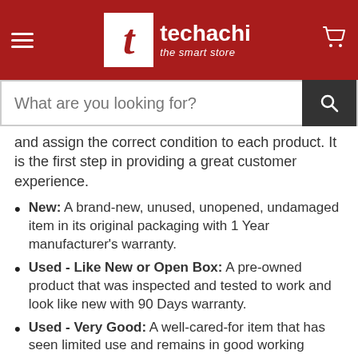techachi the smart store
and assign the correct condition to each product. It is the first step in providing a great customer experience.
New: A brand-new, unused, unopened, undamaged item in its original packaging with 1 Year manufacturer's warranty.
Used - Like New or Open Box: A pre-owned product that was inspected and tested to work and look like new with 90 Days warranty.
Used - Very Good: A well-cared-for item that has seen limited use and remains in good working condition with 90 Days warranty.
Used - Good: The item shows wear from consistent use, but it remains in good condition and functions